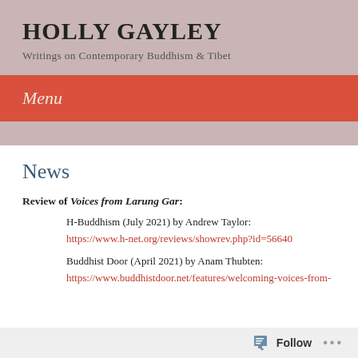HOLLY GAYLEY
Writings on Contemporary Buddhism & Tibet
Menu
News
Review of Voices from Larung Gar:
H-Buddhism (July 2021) by Andrew Taylor:
https://www.h-net.org/reviews/showrev.php?id=56640
Buddhist Door (April 2021) by Anam Thubten:
https://www.buddhistdoor.net/features/welcoming-voices-from-